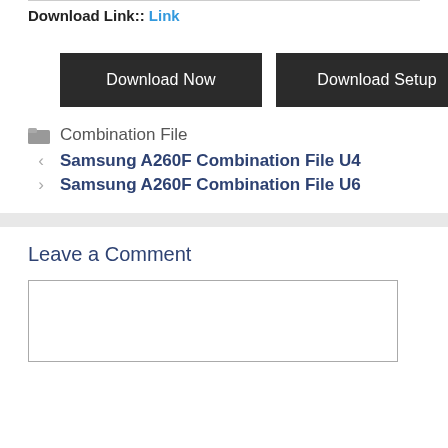Download Link:: Link
[Figure (other): Two dark download buttons: 'Download Now' and 'Download Setup']
Combination File
< Samsung A260F Combination File U4
> Samsung A260F Combination File U6
Leave a Comment